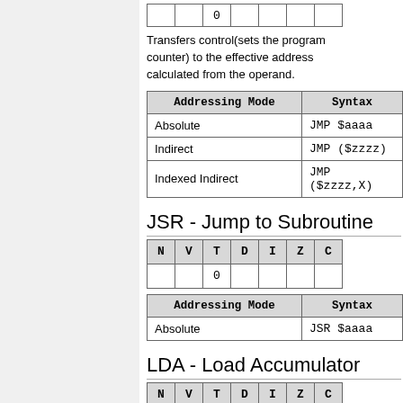| N | V | T | D | I | Z | C |
| --- | --- | --- | --- | --- | --- | --- |
|  |  | 0 |  |  |  |  |
Transfers control(sets the program counter) to the effective address calculated from the operand.
| Addressing Mode | Syntax |
| --- | --- |
| Absolute | JMP $aaaa |
| Indirect | JMP ($zzzz) |
| Indexed Indirect | JMP ($zzzz,X) |
JSR - Jump to Subroutine
| N | V | T | D | I | Z | C |
| --- | --- | --- | --- | --- | --- | --- |
|  |  | 0 |  |  |  |  |
| Addressing Mode | Syntax |
| --- | --- |
| Absolute | JSR $aaaa |
LDA - Load Accumulator
| N | V | T | D | I | Z | C |
| --- | --- | --- | --- | --- | --- | --- |